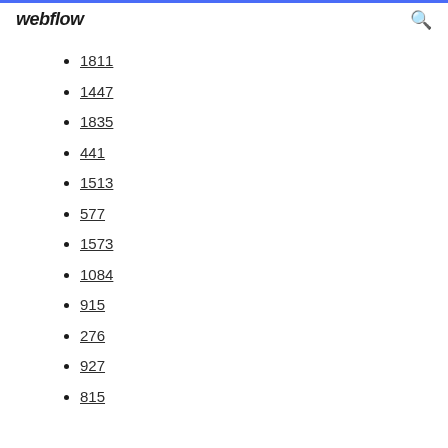webflow
1811
1447
1835
441
1513
577
1573
1084
915
276
927
815